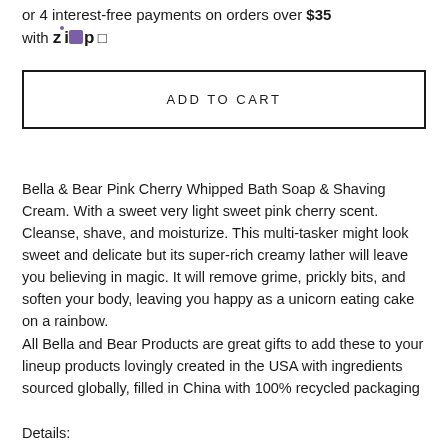or 4 interest-free payments on orders over $35 with Zip ☐
ADD TO CART
Bella & Bear Pink Cherry Whipped Bath Soap & Shaving Cream. With a sweet very light sweet pink cherry scent. Cleanse, shave, and moisturize. This multi-tasker might look sweet and delicate but its super-rich creamy lather will leave you believing in magic. It will remove grime, prickly bits, and soften your body, leaving you happy as a unicorn eating cake on a rainbow.
All Bella and Bear Products are great gifts to add these to your lineup products lovingly created in the USA with ingredients sourced globally, filled in China with 100% recycled packaging
Details: